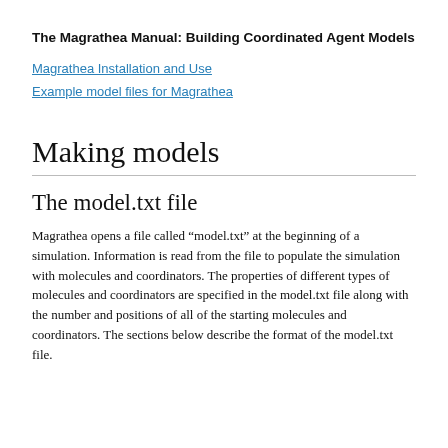The Magrathea Manual: Building Coordinated Agent Models
Magrathea Installation and Use
Example model files for Magrathea
Making models
The model.txt file
Magrathea opens a file called “model.txt” at the beginning of a simulation. Information is read from the file to populate the simulation with molecules and coordinators. The properties of different types of molecules and coordinators are specified in the model.txt file along with the number and positions of all of the starting molecules and coordinators. The sections below describe the format of the model.txt file.